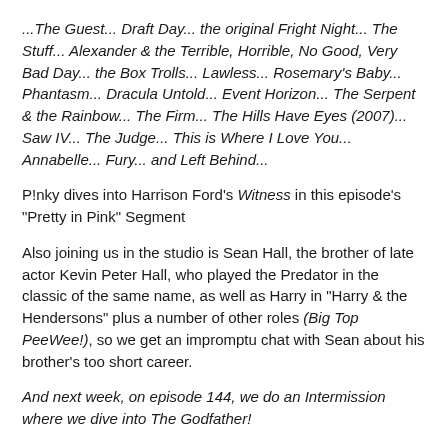...The Guest... Draft Day... the original Fright Night... The Stuff... Alexander & the Terrible, Horrible, No Good, Very Bad Day... the Box Trolls... Lawless... Rosemary's Baby... Phantasm... Dracula Untold... Event Horizon... The Serpent & the Rainbow... The Firm... The Hills Have Eyes (2007)... Saw IV... The Judge... This is Where I Love You... Annabelle... Fury... and Left Behind...
P!nky dives into Harrison Ford's Witness in this episode's "Pretty in Pink" Segment
Also joining us in the studio is Sean Hall, the brother of late actor Kevin Peter Hall, who played the Predator in the classic of the same name, as well as Harry in "Harry & the Hendersons" plus a number of other roles (Big Top PeeWee!), so we get an impromptu chat with Sean about his brother's too short career.
And next week, on episode 144, we do an Intermission where we dive into The Godfather!